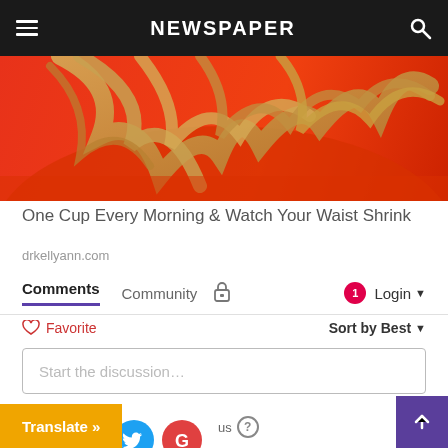NEWSPAPER
[Figure (photo): Cropped image of a woman in red with blonde hair]
One Cup Every Morning & Watch Your Waist Shrink
drkellyann.com
Comments  Community  🔒  1  Login ▾
♡ Favorite   Sort by Best ▾
Start the discussion…
LOG IN WITH
[Figure (logo): Social login icons: Disqus (blue), Facebook (dark blue), Twitter (cyan), Google (red)]
Translate »